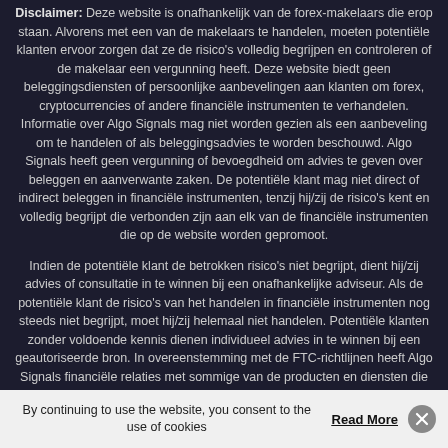Disclaimer: Deze website is onafhankelijk van de forex-makelaars die erop staan. Alvorens met een van de makelaars te handelen, moeten potentiële klanten ervoor zorgen dat ze de risico's volledig begrijpen en controleren of de makelaar een vergunning heeft. Deze website biedt geen beleggingsdiensten of persoonlijke aanbevelingen aan klanten om forex, cryptocurrencies of andere financiële instrumenten te verhandelen. Informatie over Algo Signals mag niet worden gezien als een aanbeveling om te handelen of als beleggingsadvies te worden beschouwd. Algo Signals heeft geen vergunning of bevoegdheid om advies te geven over beleggen en aanverwante zaken. De potentiële klant mag niet direct of indirect beleggen in financiële instrumenten, tenzij hij/zij de risico's kent en volledig begrijpt die verbonden zijn aan elk van de financiële instrumenten die op de website worden gepromoot.
Indien de potentiële klant de betrokken risico's niet begrijpt, dient hij/zij advies of consultatie in te winnen bij een onafhankelijke adviseur. Als de potentiële klant de risico's van het handelen in financiële instrumenten nog steeds niet begrijpt, moet hij/zij helemaal niet handelen. Potentiële klanten zonder voldoende kennis dienen individueel advies in te winnen bij een geautoriseerde bron. In overeenstemming met de FTC-richtlijnen heeft Algo Signals financiële relaties met sommige van de producten en diensten die op deze website worden vermeld, en Algo Signals kan worden gecompenseerd als consumenten ervoor kiezen om op deze links in onze inhoud te klikken en zich er uiteindelijk voor aan te melden.
By continuing to use the website, you consent to the use of cookies
Read More